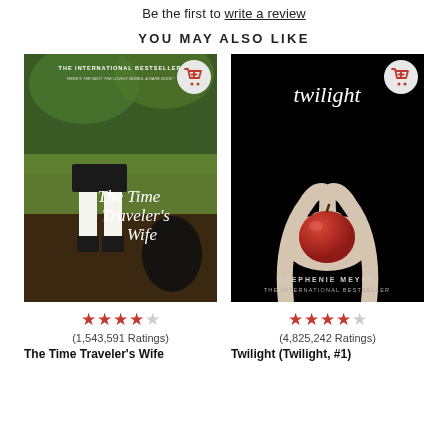Be the first to write a review
YOU MAY ALSO LIKE
[Figure (illustration): Book cover of The Time Traveler's Wife with cart button icon]
[Figure (illustration): Book cover of Twilight (Twilight, #1) by Stephenie Meyer with cart button icon]
(1,543,591 Ratings)
The Time Traveler's Wife
(4,825,242 Ratings)
Twilight (Twilight, #1)